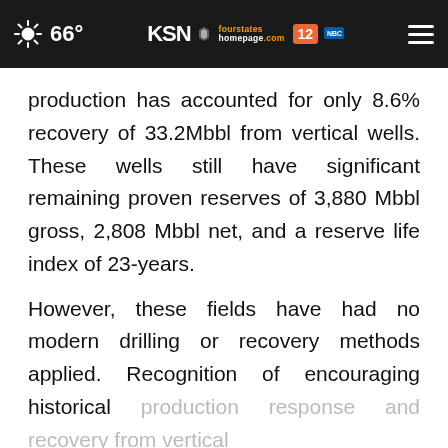66° KSN fourstates homepage.com 12
production has accounted for only 8.6% recovery of 33.2Mbbl from vertical wells. These wells still have significant remaining proven reserves of 3,880 Mbbl gross, 2,808 Mbbl net, and a reserve life index of 23-years.
However, these fields have had no modern drilling or recovery methods applied. Recognition of encouraging historical production response and recovery from vertical wells... rable
[Figure (screenshot): DISCOVERtheFOREST.org advertisement banner with forest/flower background, Ad Council and US Forest Service logos, and a close (×) button]